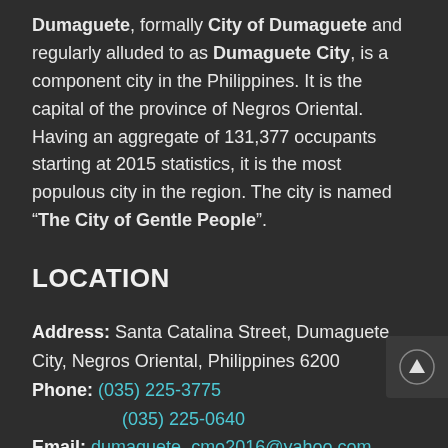Dumaguete, formally City of Dumaguete and regularly alluded to as Dumaguete City, is a component city in the Philippines. It is the capital of the province of Negros Oriental. Having an aggregate of 131,377 occupants starting at 2015 statistics, it is the most populous city in the region. The city is named “The City of Gentle People”.
LOCATION
Address: Santa Catalina Street, Dumaguete City, Negros Oriental, Philippines 6200
Phone: (035) 225-3775
(035) 225-0640
Email: dumaguete_cmo2016@yahoo.com (Mayor's Office)
CONNECT WITH US